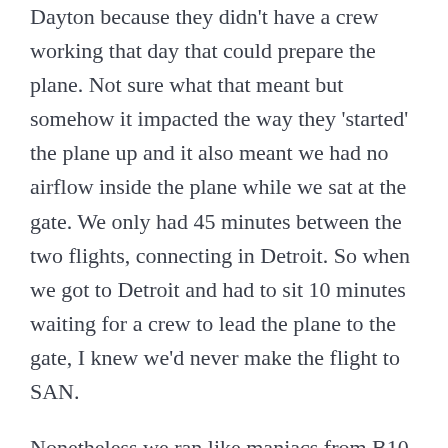Dayton because they didn't have a crew working that day that could prepare the plane. Not sure what that meant but somehow it impacted the way they 'started' the plane up and it also meant we had no airflow inside the plane while we sat at the gate. We only had 45 minutes between the two flights, connecting in Detroit. So when we got to Detroit and had to sit 10 minutes waiting for a crew to lead the plane to the gate, I knew we'd never make the flight to SAN.

Nonetheless we ran like maniacs from B10 to A20 and I nearly had a seizure, I was breathing so raggedly. The plane was still sitting there, but the doors were locked